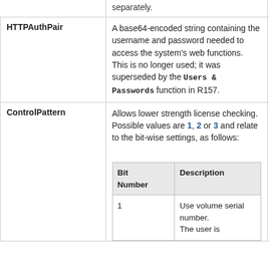|  | Description |  |
| --- | --- | --- |
|  | separately. |  |
| HTTPAuthPair | A base64-encoded string containing the username and password needed to access the system's web functions. This is no longer used; it was superseded by the Users & Passwords function in R157. |  |
| ControlPattern | Allows lower strength license checking. Possible values are 1, 2 or 3 and relate to the bit-wise settings, as follows:
[inner table: Bit Number | Description | 1 | Use volume serial number. The user is] | 3 |